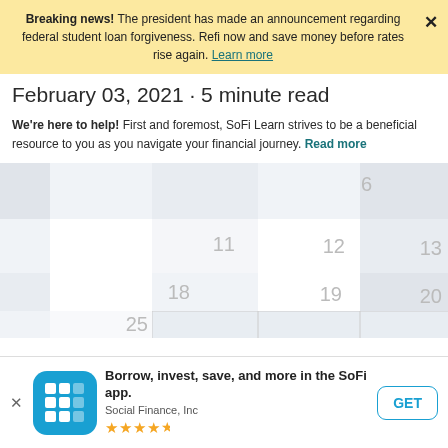Breaking news! The president has made an announcement regarding federal student loan forgiveness. Refi now and save money before rates rise again. Learn more
February 03, 2021 · 5 minute read
We're here to help! First and foremost, SoFi Learn strives to be a beneficial resource to you as you navigate your financial journey. Read more
[Figure (illustration): A blurred/soft-focus calendar showing dates including 6, 11, 12, 13, 18, 19, 20, 25]
Borrow, invest, save, and more in the SoFi app. Social Finance, Inc ★★★★½